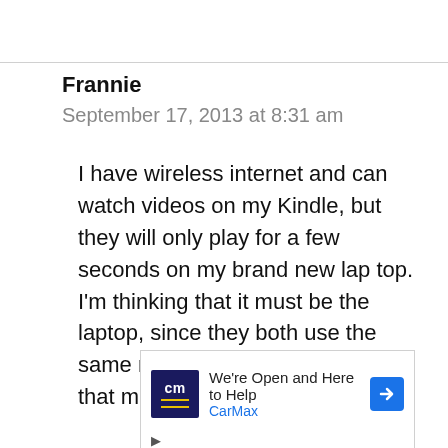Frannie
September 17, 2013 at 8:31 am
I have wireless internet and can watch videos on my Kindle, but they will only play for a few seconds on my brand new lap top. I'm thinking that it must be the laptop, since they both use the same router, internet, etc. Does that make sense.
[Figure (other): CarMax advertisement: 'We're Open and Here to Help' with CarMax logo and blue arrow icon, plus play and close controls]